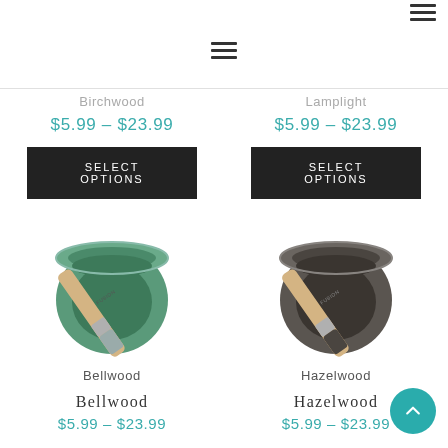[Figure (other): Hamburger/menu icon at top right]
[Figure (other): Hamburger/menu icon centered near top]
$5.99 – $23.99
$5.99 – $23.99
SELECT OPTIONS
SELECT OPTIONS
[Figure (photo): Green paint can (Bellwood) with a paint brush resting on top]
[Figure (photo): Dark gray/charcoal paint can (Hazelwood) with a paint brush resting on top]
Bellwood
Hazelwood
Bellwood
Hazelwood
$5.99 – $23.99
$5.99 – $23.99